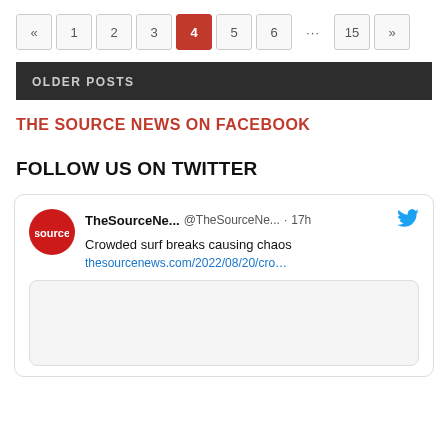« 1 2 3 4 5 6 … 15 »
OLDER POSTS
THE SOURCE NEWS ON FACEBOOK
FOLLOW US ON TWITTER
TheSourceNe... @TheSourceNe... · 17h
Crowded surf breaks causing chaos
thesourcenews.com/2022/08/20/cro…